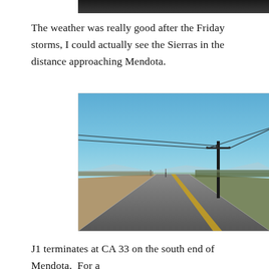[Figure (photo): Partial view of a dark/nighttime photograph at the top of the page, cropped — only the bottom edge is visible.]
The weather was really good after the Friday storms, I could actually see the Sierras in the distance approaching Mendota.
[Figure (photo): Road-level photograph of a straight rural highway stretching into the distance under a clear blue sky. A utility pole with power lines stands on the right side of the road. Flat agricultural land flanks both sides. A distant mountain range (Sierras) is faintly visible on the horizon.]
J1 terminates at CA 33 on the south end of Mendota.  For a